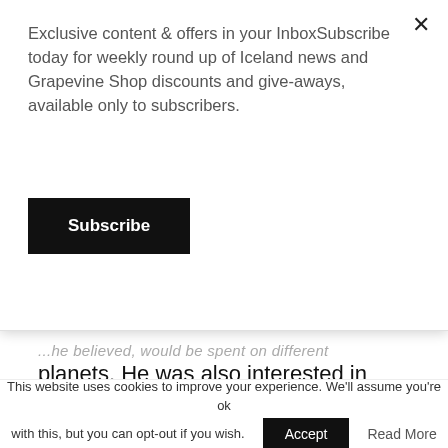Exclusive content & offers in your InboxSubscribe today for weekly round up of Iceland news and Grapevine Shop discounts and give-aways, available only to subscribers.
Subscribe
...he believed, would be spent on different planets. He was also interested in futurology and, in 1933, he made the following predictions about life in Iceland and the universe for the year 2000 and the 21st Century.
[Figure (photo): Black and white portrait photograph of a man, showing the top of the head and upper face.]
This website uses cookies to improve your experience. We'll assume you're ok with this, but you can opt-out if you wish.
Accept
Read More